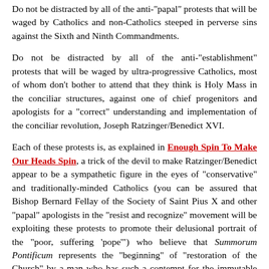Do not be distracted by all of the anti-"papal" protests that will be waged by Catholics and non-Catholics steeped in perverse sins against the Sixth and Ninth Commandments.
Do not be distracted by all of the anti-"establishment" protests that will be waged by ultra-progressive Catholics, most of whom don't bother to attend that they think is Holy Mass in the conciliar structures, against one of chief progenitors and apologists for a "correct" understanding and implementation of the conciliar revolution, Joseph Ratzinger/Benedict XVI.
Each of these protests is, as explained in Enough Spin To Make Our Heads Spin, a trick of the devil to make Ratzinger/Benedict appear to be a sympathetic figure in the eyes of "conservative" and traditionally-minded Catholics (you can be assured that Bishop Bernard Fellay of the Society of Saint Pius X and other "papal" apologists in the "resist and recognize" movement will be exploiting these protests to promote their delusional portrait of the "poor, suffering 'pope'") who believe that Summorum Pontificum represents the "beginning" of "restoration of the Church" by a man who has such a contempt for the immutable doctrine and tradition of the Catholic Church